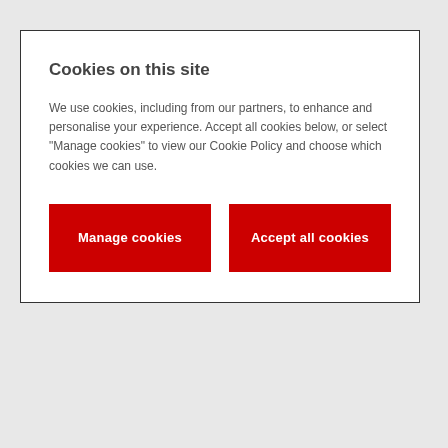Cookies on this site
We use cookies, including from our partners, to enhance and personalise your experience. Accept all cookies below, or select "Manage cookies" to view our Cookie Policy and choose which cookies we can use.
[Figure (screenshot): Two red buttons side by side: 'Manage cookies' on the left and 'Accept all cookies' on the right]